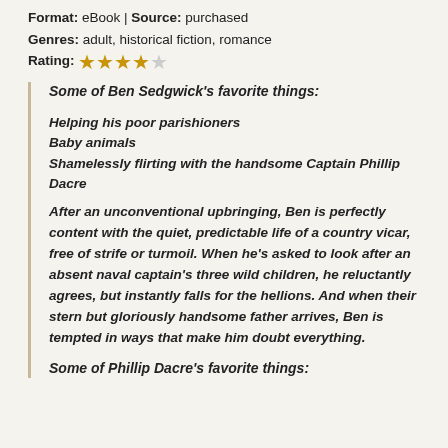Format: eBook | Source: purchased
Genres: adult, historical fiction, romance
Rating: ★★★★☆ (3.5 stars out of 5)
Some of Ben Sedgwick's favorite things:
Helping his poor parishioners
Baby animals
Shamelessly flirting with the handsome Captain Phillip Dacre
After an unconventional upbringing, Ben is perfectly content with the quiet, predictable life of a country vicar, free of strife or turmoil. When he's asked to look after an absent naval captain's three wild children, he reluctantly agrees, but instantly falls for the hellions. And when their stern but gloriously handsome father arrives, Ben is tempted in ways that make him doubt everything.
Some of Phillip Dacre's favorite things: